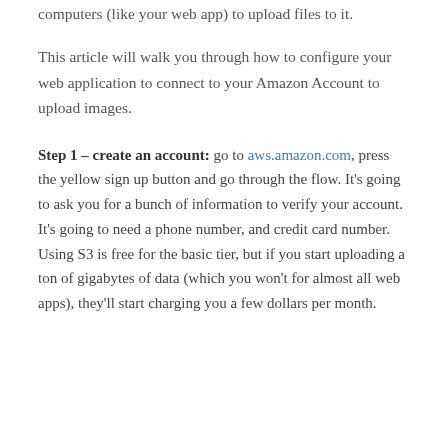computers (like your web app) to upload files to it.
This article will walk you through how to configure your web application to connect to your Amazon Account to upload images.
Step 1 – create an account: go to aws.amazon.com, press the yellow sign up button and go through the flow. It's going to ask you for a bunch of information to verify your account. It's going to need a phone number, and credit card number. Using S3 is free for the basic tier, but if you start uploading a ton of gigabytes of data (which you won't for almost all web apps), they'll start charging you a few dollars per month.